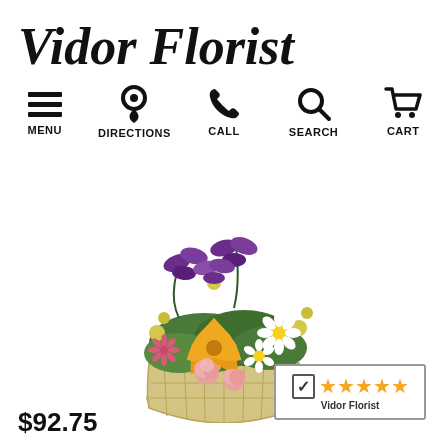Vidor Florist
[Figure (infographic): Navigation bar with icons: hamburger menu (MENU), map pin (DIRECTIONS), phone (CALL), magnifying glass (SEARCH), shopping cart (CART)]
[Figure (photo): Floral arrangement in a basket with yellow lilies, purple irises, white daisies, pink carnations, and yellow accent flowers]
[Figure (infographic): Shopper Approved rating badge with checkmark and 5 orange stars, labeled Vidor Florist]
$92.75